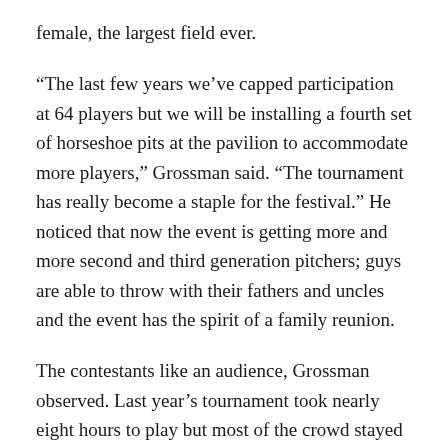female, the largest field ever.
“The last few years we’ve capped participation at 64 players but we will be installing a fourth set of horseshoe pits at the pavilion to accommodate more players,” Grossman said. “The tournament has really become a staple for the festival.” He noticed that now the event is getting more and more second and third generation pitchers; guys are able to throw with their fathers and uncles and the event has the spirit of a family reunion.
The contestants like an audience, Grossman observed. Last year’s tournament took nearly eight hours to play but most of the crowd stayed until the bitter end, he said. Dave Stafinski Jr. and Randy Munn were last year’s champions. They will be paired again to defend their title. All other players will be matched via random draw at 11 a.m., Saturday, July 29. Sign-